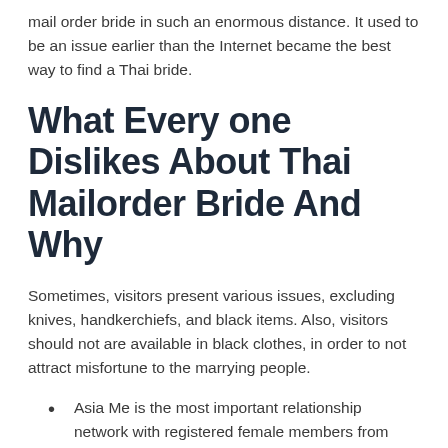mail order bride in such an enormous distance. It used to be an issue earlier than the Internet became the best way to find a Thai bride.
What Every one Dislikes About Thai Mailorder Bride And Why
Sometimes, visitors present various issues, excluding knives, handkerchiefs, and black items. Also, visitors should not are available in black clothes, in order to not attract misfortune to the marrying people.
Asia Me is the most important relationship network with registered female members from Asia and a wide variety of options .
Note that since you are a foreigner, the lady's family